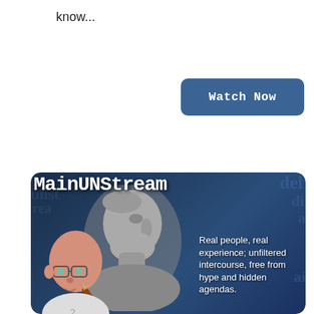know...
[Figure (illustration): Watch Now button — blue rounded rectangle with white bold text]
[Figure (illustration): MainUNStream podcast/show promotional image: dark blue background with faint watermark text, a grayscale bust statue in center-left, an illustrated bald man with glasses holding a pencil in lower left, title 'MainUNStream' in large typewriter font at top, and description text 'Real people, real experience; unfiltered intercourse, free from hype and hidden agendas.' on the right side.]